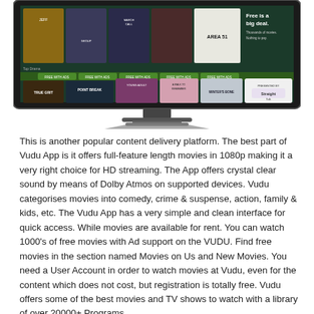[Figure (screenshot): A television screen showing the Vudu streaming app interface with movie thumbnails including True Grit, Point Break, Young Adult, A Walk to Remember, Winter's Bone, and others. The screen shows 'Free is a big deal. Thousands of movies. Nothing to pay.' and is sponsored by Straight Talk Wireless. The TV has a slim silver stand on a dark base.]
This is another popular content delivery platform. The best part of Vudu App is it offers full-feature length movies in 1080p making it a very right choice for HD streaming. The App offers crystal clear sound by means of Dolby Atmos on supported devices. Vudu categorises movies into comedy, crime & suspense, action, family & kids, etc. The Vudu App has a very simple and clean interface for quick access. While movies are available for rent. You can watch 1000's of free movies with Ad support on the VUDU. Find free movies in the section named Movies on Us and New Movies. You need a User Account in order to watch movies at Vudu, even for the content which does not cost, but registration is totally free. Vudu offers some of the best movies and TV shows to watch with a library of over 20000+ Programs.